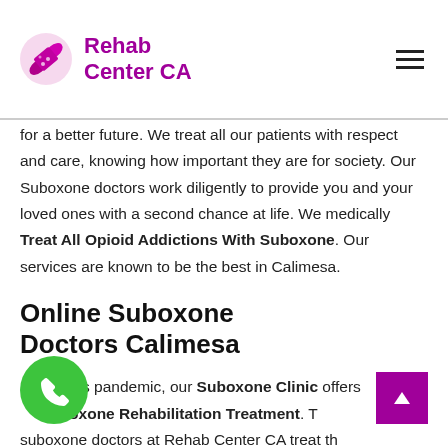Rehab Center CA
for a better future. We treat all our patients with respect and care, knowing how important they are for society. Our Suboxone doctors work diligently to provide you and your loved ones with a second chance at life. We medically Treat All Opioid Addictions With Suboxone. Our services are known to be the best in Calimesa.
Online Suboxone Doctors Calimesa
During this pandemic, our Suboxone Clinic offers Online Suboxone Rehabilitation Treatment. The suboxone doctors at Rehab Center CA treat the patients thoroughly through one-on-one consultations